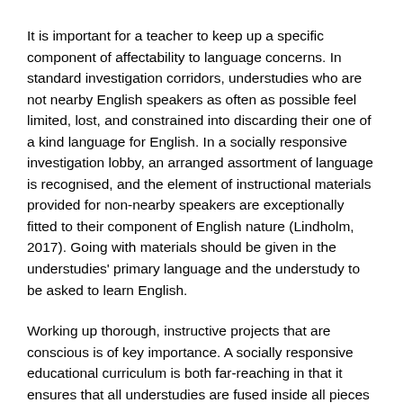It is important for a teacher to keep up a specific component of affectability to language concerns. In standard investigation corridors, understudies who are not nearby English speakers as often as possible feel limited, lost, and constrained into discarding their one of a kind language for English. In a socially responsive investigation lobby, an arranged assortment of language is recognised, and the element of instructional materials provided for non-nearby speakers are exceptionally fitted to their component of English nature (Lindholm, 2017). Going with materials should be given in the understudies' primary language and the understudy to be asked to learn English.
Working up thorough, instructive projects that are conscious is of key importance. A socially responsive educational curriculum is both far-reaching in that it ensures that all understudies are fused inside all pieces of the school and it perceives the exceptional complexities understudies may have. A socially administrative structure emphasizes is important...